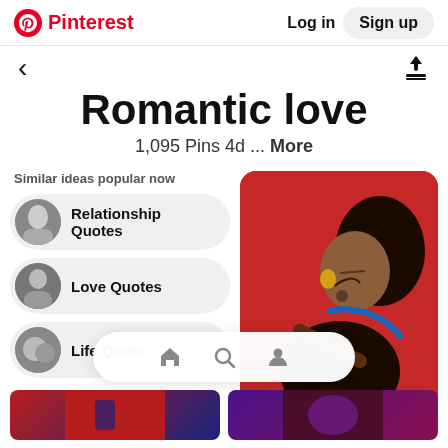Pinterest  Log in  Sign up
Romantic love
1,095 Pins 4d ... More
Similar ideas popular now
Relationship Quotes
Love Quotes
Life Quotes
[Figure (screenshot): Animated couple sleeping together, woman with tattoo and gold earring on red background]
[Figure (screenshot): Bottom strip thumbnails of romantic images]